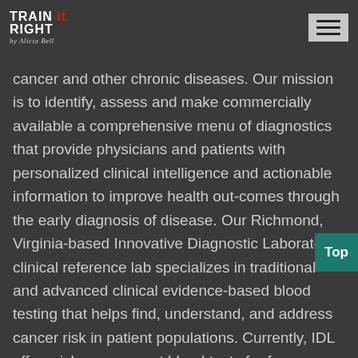TRAIN IT RIGHT by Alicia Bell
cancer and other chronic diseases. Our mission is to identify, assess and make commercially available a comprehensive menu of diagnostics that provide physicians and patients with personalized clinical intelligence and actionable information to improve health out-comes through the early diagnosis of disease. Our Richmond, Virginia-based Innovative Diagnostic Laboratory clinical reference lab specializes in traditional and advanced clinical evidence-based blood testing that helps find, understand, and address cancer risk in patient populations. Currently, IDL offers risk assessment blood tests for four prevalent cancer types – colon, lung, prostate and breast. GeneNews' common